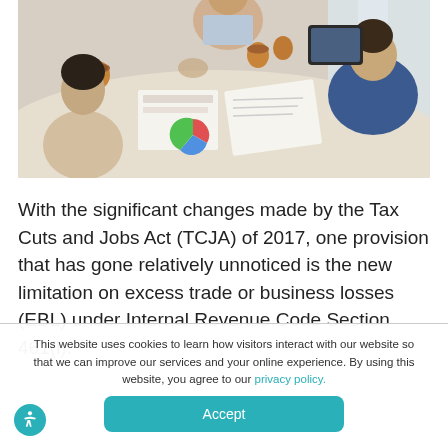[Figure (photo): Overhead view of business meeting with people around a table with documents, charts, coffee cups, and tablets]
With the significant changes made by the Tax Cuts and Jobs Act (TCJA) of 2017, one provision that has gone relatively unnoticed is the new limitation on excess trade or business losses (EBL) under Internal Revenue Code Section 461(l).
This website uses cookies to learn how visitors interact with our website so that we can improve our services and your online experience. By using this website, you agree to our privacy policy.